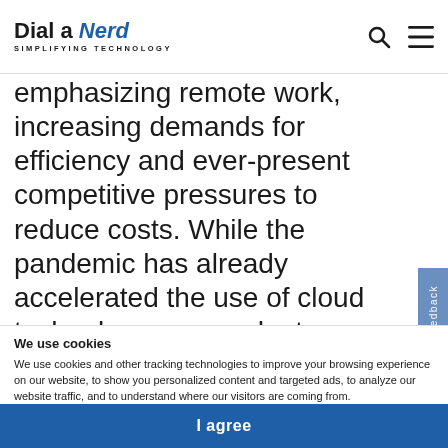Dial a Nerd - SIMPLIFYING TECHNOLOGY
emphasizing remote work, increasing demands for efficiency and ever-present competitive pressures to reduce costs. While the pandemic has already accelerated the use of cloud technology, respondents shared they will continue to proactively and strategically invest in cloud, specifically hybrid and multi-cloud, in the next few years.
It comes down to the bottom line: these technologies are critical to business success, enabling new scenarios that benefit companies that use these technologies were more
We use cookies
We use cookies and other tracking technologies to improve your browsing experience on our website, to show you personalized content and targeted ads, to analyze our website traffic, and to understand where our visitors are coming from.
I agree